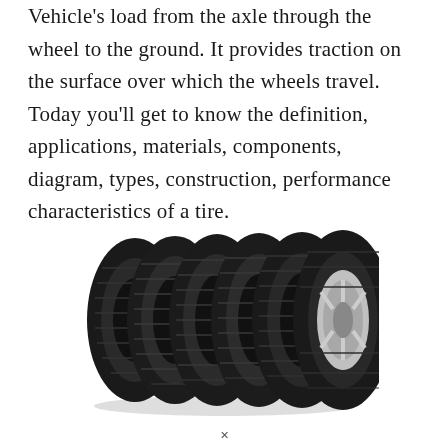Vehicle's load from the axle through the wheel to the ground. It provides traction on the surface over which the wheels travel. Today you'll get to know the definition, applications, materials, components, diagram, types, construction, performance characteristics of a tire.
[Figure (photo): Six car tires of different tread patterns lined up side by side in a row, slightly overlapping, on a white background. The rightmost tire shows a silver alloy wheel rim. Tires vary from summer to winter tread patterns.]